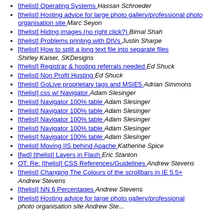[thelist] Operating Systems  Hassan Schroeder
[thelist] Hosting advice for large photo gallery/professional photo organisation site   Marc Seyon
[thelist] Hiding images (no right click?)   Bimal Shah
[thelist] Problems printing with DIVs   Justin Sharpe
[thelist] How to split a long text file into separate files  Shirley Kaiser, SKDesigns
[thelist] Registrar & hosting referrals needed   Ed Shuck
[thelist] Non Profit Hosting   Ed Shuck
[thelist] GoLive proprietary tags and MSIE5   Adrian Simmons
[thelist] css w/ Navigator   Adam Slesinger
[thelist] Navigator 100% table   Adam Slesinger
[thelist] Navigator 100% table   Adam Slesinger
[thelist] Navigator 100% table   Adam Slesinger
[thelist] Navigator 100% table   Adam Slesinger
[thelist] Navigator 100% table   Adam Slesinger
[thelist] Moving IIS behind Apache   Katherine Spice
[fwd] [thelist] Layers in Flash   Eric Stanton
OT: Re: [thelist] CSS References/Guidelines   Andrew Stevens
[thelist] Changing The Colours of the scrollbars in IE 5.5+  Andrew Stevens
[thelist] NN 6 Percentages   Andrew Stevens
[thelist] Hosting advice for large photo gallery/professional photo organisation site  Andrew Stevens